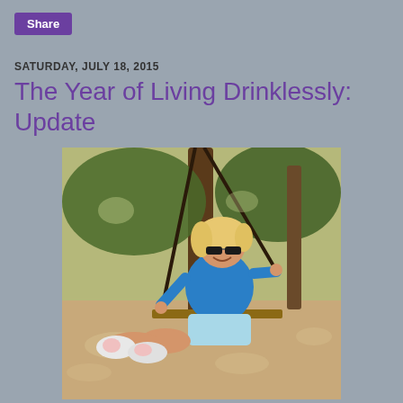Share
SATURDAY, JULY 18, 2015
The Year of Living Drinklessly: Update
[Figure (photo): A blond woman wearing sunglasses, a blue long-sleeve top, and light blue shorts, swinging on a rope tree swing outdoors, with trees and dappled sunlight in the background. She is wearing pink and white athletic shoes and her feet are raised off the ground.]